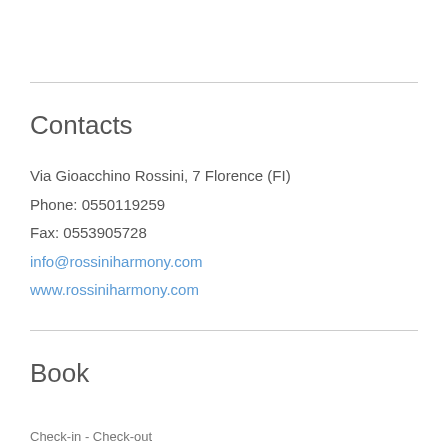Contacts
Via Gioacchino Rossini, 7 Florence (FI)
Phone: 0550119259
Fax: 0553905728
info@rossiniharmony.com
www.rossiniharmony.com
Book
Check-in - Check-out